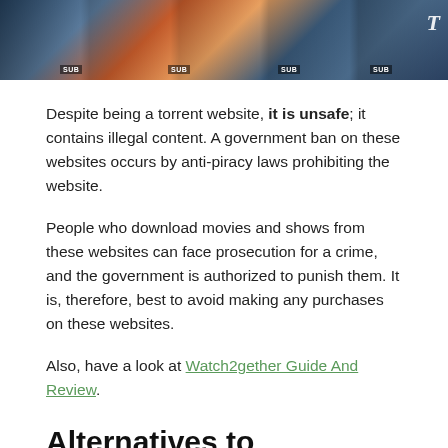[Figure (photo): Banner image showing anime character thumbnails with SUB labels and a T icon in the top right corner]
Despite being a torrent website, it is unsafe; it contains illegal content. A government ban on these websites occurs by anti-piracy laws prohibiting the website.
People who download movies and shows from these websites can face prosecution for a crime, and the government is authorized to punish them. It is, therefore, best to avoid making any purchases on these websites.
Also, have a look at Watch2gether Guide And Review.
Alternatives to GogoAnime
The huge fan base of anime movies and shows has attracted